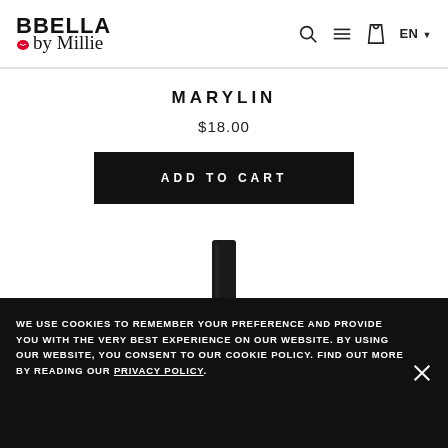BBELLA by Millie — navigation: search, menu, cart, EN
MARYLIN
$18.00
ADD TO CART
[Figure (illustration): Bottom portion of a black lipstick tube]
WE USE COOKIES TO REMEMBER YOUR PREFERENCE AND PROVIDE YOU WITH THE VERY BEST EXPERIENCE ON OUR WEBSITE. BY USING OUR WEBSITE, YOU CONSENT TO OUR COOKIE POLICY. FIND OUT MORE BY READING OUR PRIVACY POLICY.